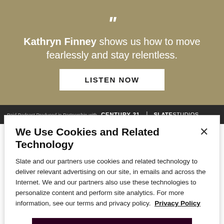[Figure (illustration): Tan/olive background promotional section for a podcast. Large quotation mark, bold text quote about Kathryn Finney, and a LISTEN NOW button.]
Kathryn Finney shows us how to move fearlessly and stay relentless.
LISTEN NOW
Paid Podcast Produced in Partnership with CENTURY 21 | SLATE STUDIOS
We Use Cookies and Related Technology
Slate and our partners use cookies and related technology to deliver relevant advertising on our site, in emails and across the Internet. We and our partners also use these technologies to personalize content and perform site analytics. For more information, see our terms and privacy policy. Privacy Policy
OK